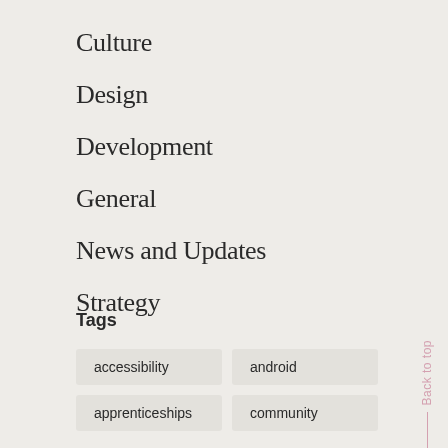Culture
Design
Development
General
News and Updates
Strategy
Tags
accessibility
android
apprenticeships
community
Back to top